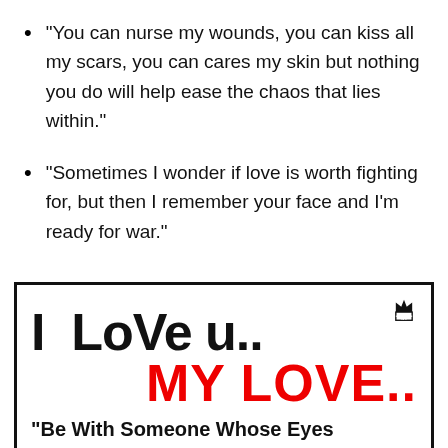“You can nurse my wounds, you can kiss all my scars, you can cares my skin but nothing you do will help ease the chaos that lies within.”
“Sometimes I wonder if love is worth fighting for, but then I remember your face and I’m ready for war.”
[Figure (infographic): Decorative love quote image with large black text 'I LoVe u..' and large red bold text 'MY LOVE..' with a partial quote 'Be With Someone Whose Eyes Can Show You How Much They' and a crown/crest logo in top right corner, all inside a black border box.]